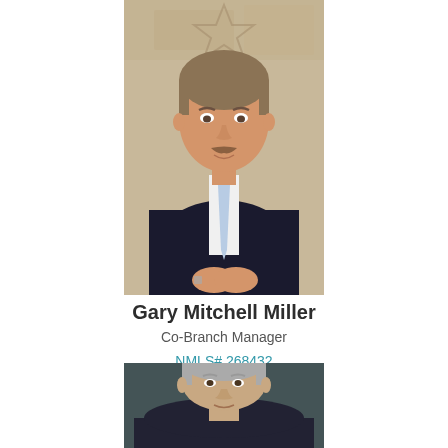[Figure (photo): Professional headshot of Gary Mitchell Miller, a man in a dark suit with a light blue tie, hands clasped, seated in front of a stone wall with a star decoration]
Gary Mitchell Miller
Co-Branch Manager
NMLS# 268432
[Figure (photo): Professional headshot of a man with grey hair wearing a dark suit, partially visible, cropped at bottom of page]